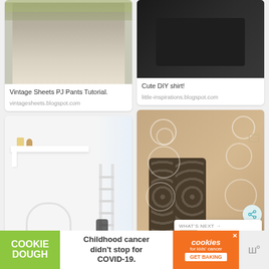[Figure (photo): Legs wearing floral pajama pants, standing on wooden steps with potted plants in background]
Vintage Sheets PJ Pants Tutorial.
vintagesheets.blogspot.com
[Figure (photo): Person wearing a black DIY shirt, chest and torso visible]
Cute DIY shirt!
little-inspirations.blogspot.com
[Figure (photo): White children's room with built-in bunk bed, shelf with bracket, and arched doorway underneath]
[Figure (photo): Pair of dark brown boots decorated with white floral lace-like pattern, standing on wooden surface]
[Figure (other): What's Next panel: FREE SVG Cut Files for Cri...]
[Figure (other): Advertisement banner: COOKIE DOUGH - Childhood cancer didn't stop for COVID-19. cookies for kids' cancer GET BAKING]